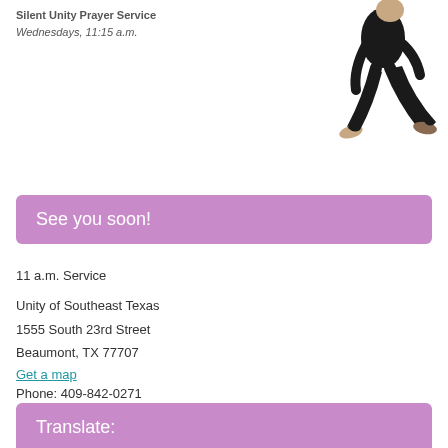Silent Unity Prayer Service
Wednesdays, 11:15 a.m.
[Figure (photo): A person dressed in dark clothing, appearing to walk or dance, shown from roughly waist down with bare feet.]
See you soon!
11 a.m. Service
Unity of Southeast Texas
1555 South 23rd Street
Beaumont, TX 77707
Get a map
Phone: 409-842-0271
Translate: